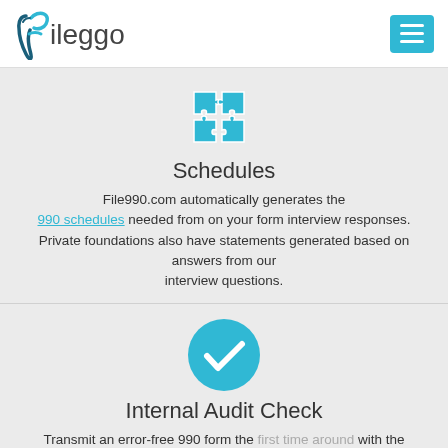[Figure (logo): Fileggo logo with teal stylized F and text 'fileggo']
[Figure (illustration): Teal puzzle pieces icon (four interlocking pieces)]
Schedules
File990.com automatically generates the 990 schedules needed from on your form interview responses. Private foundations also have statements generated based on answers from our interview questions.
[Figure (illustration): Teal circle with white checkmark icon]
Internal Audit Check
Transmit an error-free 990 form the first time around with the built-in audit check that keeps your responses accurate and compliant.